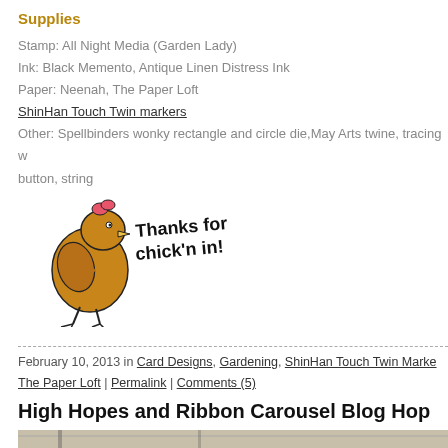Supplies
Stamp: All Night Media (Garden Lady)
Ink: Black Memento, Antique Linen Distress Ink
Paper: Neenah, The Paper Loft
ShinHan Touch Twin markers
Other: Spellbinders wonky rectangle and circle die,May Arts twine, tracing w... button, string
[Figure (illustration): Cartoon chicken illustration with text 'Thanks for chick'n in!']
February 10, 2013 in Card Designs, Gardening, ShinHan Touch Twin Markers, The Paper Loft | Permalink | Comments (5)
High Hopes and Ribbon Carousel Blog Hop
[Figure (photo): Partial photo of a card with wood background and decorative frame]